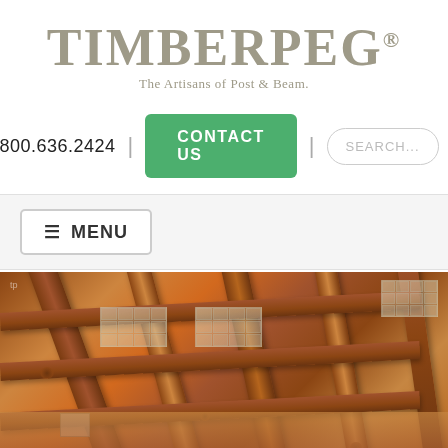[Figure (logo): Timberpeg logo with text 'TIMBERPEG®' and tagline 'The Artisans of Post & Beam.']
800.636.2424 | CONTACT US | SEARCH...
≡ MENU
[Figure (photo): Interior photo of a timber frame post and beam structure showing wooden ceiling beams, purlins, and skylight panels with warm wood tones]